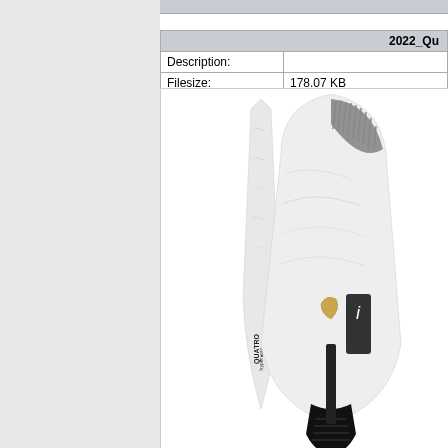|  | 2022_Qu... |
| --- | --- |
| Description: |  |
| Filesize: | 178.07 KB |
| Viewed: | 4559 Time(s) |
[Figure (photo): Photo of two surfboards (Quatro brand) side by side — one thin pointed board and one wider board with black and white marble-like finish with fin/grip detail, shown against white background.]